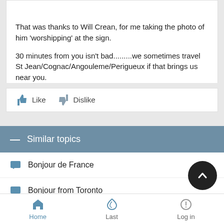That was thanks to Will Crean, for me taking the photo of him 'worshipping' at the sign.
30 minutes from you isn't bad.........we sometimes travel St Jean/Cognac/Angouleme/Perigueux if that brings us near you.
Similar topics
Bonjour de France
Bonjour from Toronto
Bonjour from Bismarck